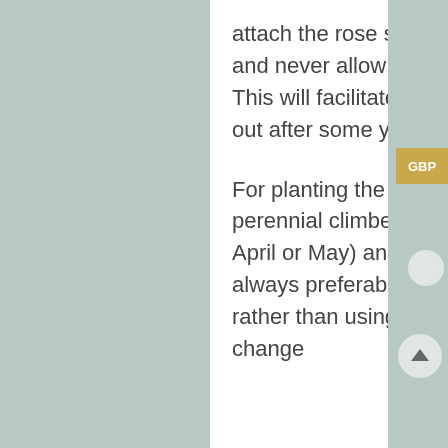attach the rose shoots to the front of the Poundbury trellis, and never allow them to grow in and out of the latticework. This will facilitate the radical pruning you will need to carry out after some years in order to keep the plants in bounds.
For planting the Poundbury, we recommend using perennial climbers, which can be planted both in spring (in April or May) and in autumn (before the first frost). It is always preferable to plant them directly in the ground rather than using flower pots or planters. Be prepared to change